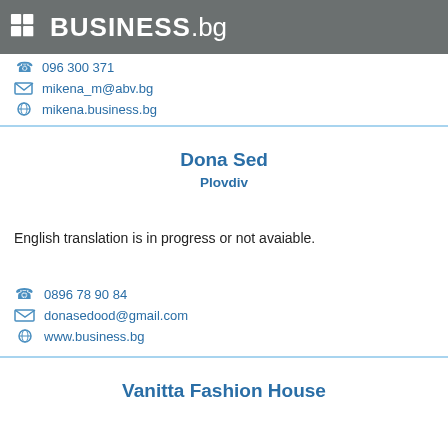BUSINESS.bg
096 300 371
mikena_m@abv.bg
mikena.business.bg
Dona Sed
Plovdiv
English translation is in progress or not avaiable.
0896 78 90 84
donasedood@gmail.com
www.business.bg
Vanitta Fashion House